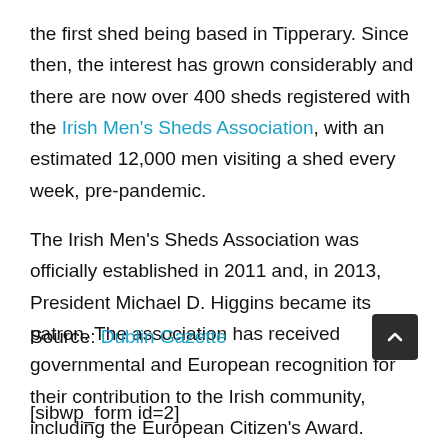the first shed being based in Tipperary. Since then, the interest has grown considerably and there are now over 400 sheds registered with the Irish Men's Sheds Association, with an estimated 12,000 men visiting a shed every week, pre-pandemic.
The Irish Men's Sheds Association was officially established in 2011 and, in 2013, President Michael D. Higgins became its patron. The association has received governmental and European recognition for their contribution to the Irish community, including the European Citizen's Award.
Source: Dublin Gazette
[sibwp_form id=2]